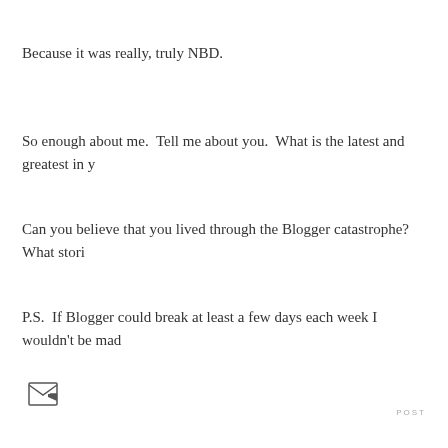Because it was really, truly NBD.
So enough about me.  Tell me about you.  What is the latest and greatest in y
Can you believe that you lived through the Blogger catastrophe?  What stori
P.S.  If Blogger could break at least a few days each week I wouldn't be mad
[Figure (other): Email/share icon (envelope with arrow)]
POST
[Figure (other): Social sharing buttons: Gmail, Blogger, Twitter, Facebook]
[Figure (other): Teal/turquoise colored bar element]
50 comments
onecraftalicousmomma  May 19, 2011 at 4:53 PM